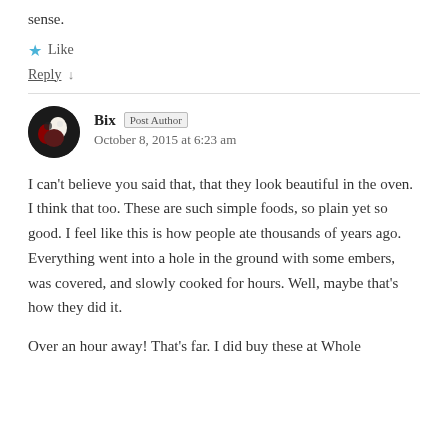sense.
★ Like
Reply ↓
Bix  Post Author
October 8, 2015 at 6:23 am
I can't believe you said that, that they look beautiful in the oven. I think that too. These are such simple foods, so plain yet so good. I feel like this is how people ate thousands of years ago. Everything went into a hole in the ground with some embers, was covered, and slowly cooked for hours. Well, maybe that's how they did it.
Over an hour away! That's far. I did buy these at Whole